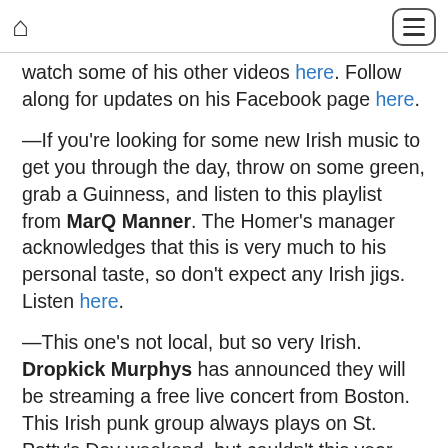Home | Menu
watch some of his other videos here. Follow along for updates on his Facebook page here.
—If you're looking for some new Irish music to get you through the day, throw on some green, grab a Guinness, and listen to this playlist from MarQ Manner. The Homer's manager acknowledges that this is very much to his personal taste, so don't expect any Irish jigs. Listen here.
—This one's not local, but so very Irish. Dropkick Murphys has announced they will be streaming a free live concert from Boston. This Irish punk group always plays on St. Patty's Day weekend, but couldn't this year. So they're making up for it by making sure everyone gets to enjoy some Irish cheer. Check it out here, tonight at 6 p.m. CST.